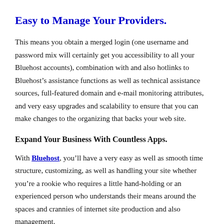Easy to Manage Your Providers.
This means you obtain a merged login (one username and password mix will certainly get you accessibility to all your Bluehost accounts), combination with and also hotlinks to Bluehost’s assistance functions as well as technical assistance sources, full-featured domain and e-mail monitoring attributes, and very easy upgrades and scalability to ensure that you can make changes to the organizing that backs your web site.
Expand Your Business With Countless Apps.
With Bluehost, you’ll have a very easy as well as smooth time structure, customizing, as well as handling your site whether you’re a rookie who requires a little hand-holding or an experienced person who understands their means around the spaces and crannies of internet site production and also management.